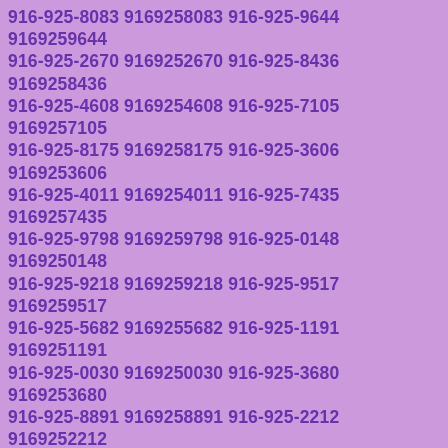916-925-8083 9169258083 916-925-9644 9169259644 916-925-2670 9169252670 916-925-8436 9169258436 916-925-4608 9169254608 916-925-7105 9169257105 916-925-8175 9169258175 916-925-3606 9169253606 916-925-4011 9169254011 916-925-7435 9169257435 916-925-9798 9169259798 916-925-0148 9169250148 916-925-9218 9169259218 916-925-9517 9169259517 916-925-5682 9169255682 916-925-1191 9169251191 916-925-0030 9169250030 916-925-3680 9169253680 916-925-8891 9169258891 916-925-2212 9169252212 916-925-8612 9169258612 916-925-3418 9169253418 916-925-1445 9169251445 916-925-2573 9169252573 916-925-8625 9169258625 916-925-3464 9169253464 916-925-3239 9169253239 916-925-2326 9169252326 916-925-9112 9169259112 916-925-0664 9169250664 916-925-5588 9169255588 916-925-8194 9169258194 916-925-1264 9169251264 916-925-7072 9169257072 916-925-6492 9169256492 916-925-3954 9169253954 916-925-1518 9169251518 916-925-7427 9169257427 916-925-0259 9169250259 916-925-7378 9169257378 916-925-8176 9169258176 916-925-4492 9169254492